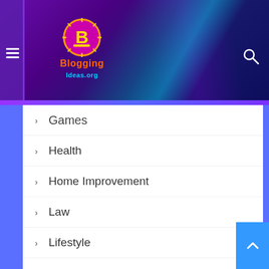BloggingIdeas.org
Games
Health
Home Improvement
Law
Lifestyle
News
Pet
Photography
Real Estate
Sports
Style
Technology